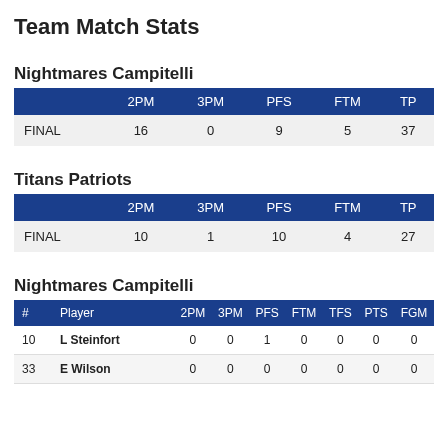Team Match Stats
Nightmares Campitelli
|  | 2PM | 3PM | PFS | FTM | TP |
| --- | --- | --- | --- | --- | --- |
| FINAL | 16 | 0 | 9 | 5 | 37 |
Titans Patriots
|  | 2PM | 3PM | PFS | FTM | TP |
| --- | --- | --- | --- | --- | --- |
| FINAL | 10 | 1 | 10 | 4 | 27 |
Nightmares Campitelli
| # | Player | 2PM | 3PM | PFS | FTM | TFS | PTS | FGM |
| --- | --- | --- | --- | --- | --- | --- | --- | --- |
| 10 | L Steinfort | 0 | 0 | 1 | 0 | 0 | 0 | 0 |
| 33 | E Wilson | 0 | 0 | 0 | 0 | 0 | 0 | 0 |